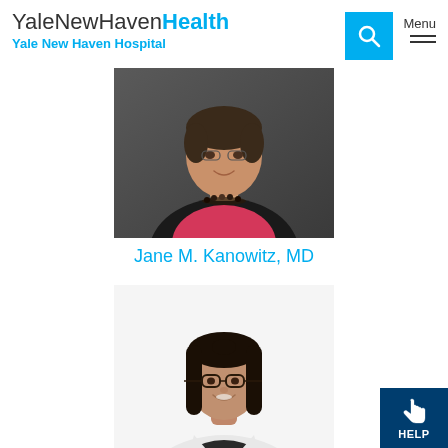YaleNewHavenHealth Yale New Haven Hospital
[Figure (photo): Professional headshot of Jane M. Kanowitz, MD - woman with short dark hair wearing a black cardigan over a red/pink top with a beaded necklace, smiling, against a gray background]
Jane M. Kanowitz, MD
[Figure (photo): Professional photo of a young woman with long dark hair wearing glasses, a white lab coat with stethoscope, smiling against a white background]